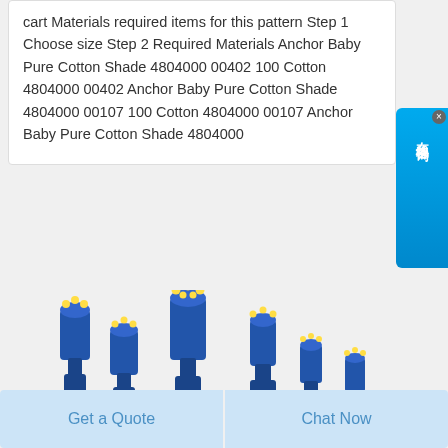cart Materials required items for this pattern Step 1 Choose size Step 2 Required Materials Anchor Baby Pure Cotton Shade 4804000 00402 100 Cotton 4804000 00402 Anchor Baby Pure Cotton Shade 4804000 00107 100 Cotton 4804000 00107 Anchor Baby Pure Cotton Shade 4804000
[Figure (photo): Multiple blue drill bits / rock drilling tools of various sizes arranged together, with a HAKEI brand watermark visible. A red circle/button partially visible at bottom right.]
Get a Quote
Chat Now